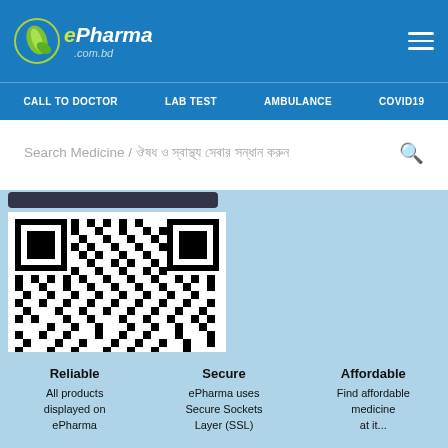[Figure (logo): ePharma.com.bd logo with green leaf icon]
CALL TO DOCTOR   LAB TEST   AMBULANCE   COVID19
Search Medicine / বাংলায় ওষুধ খোঁজার জন্য
[Figure (other): QR code image in black and white]
0 Items
৳0
Reliable
All products displayed on ePharma
Secure
ePharma uses Secure Sockets Layer (SSL)
Affordable
Find affordable medicine at it...